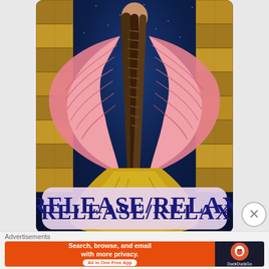[Figure (illustration): An oracle/tarot card illustration showing an angel figure viewed from behind, with large pink wings spread open, a long braided dark hair, wearing a yellow/gold dress. The angel stands between two golden stone pillars against a dark starry night sky. At the bottom of the card is a pale lavender/pink rounded rectangle label.]
RELEASE/RELAX
Advertisements
[Figure (screenshot): DuckDuckGo advertisement banner. Left portion has orange background with white text reading 'Search, browse, and email with more privacy.' and a white button 'All in One Free App'. Right portion has dark background with DuckDuckGo duck logo and 'DuckDuckGo' text in white.]